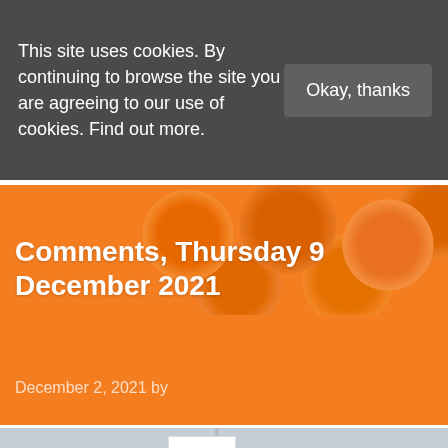This site uses cookies. By continuing to browse the site you are agreeing to our use of cookies. Find out more.
Okay, thanks
Comments, Thursday 9 December 2021
December 2, 2021 by
[Figure (photo): A photograph of a red and white flag on a pole with a building in the background under an overcast sky]